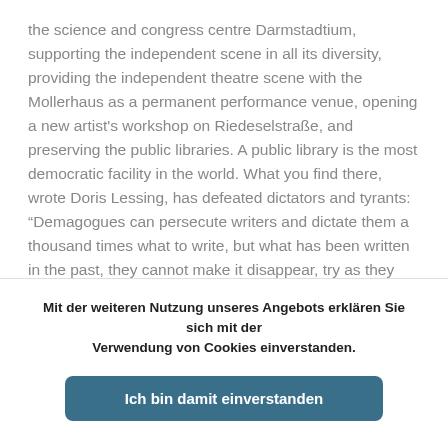the science and congress centre Darmstadtium, supporting the independent scene in all its diversity, providing the independent theatre scene with the Mollerhaus as a permanent performance venue, opening a new artist's workshop on Riedeselstraße, and preserving the public libraries. A public library is the most democratic facility in the world. What you find there, wrote Doris Lessing, has defeated dictators and tyrants: “Demagogues can persecute writers and dictate them a thousand times what to write, but what has been written in the past, they cannot make it disappear, try as they may.”

Cultural debates, held academically or not, take strength and
Mit der weiteren Nutzung unseres Angebots erklären Sie sich mit der Verwendung von Cookies einverstanden.
Ich bin damit einverstanden